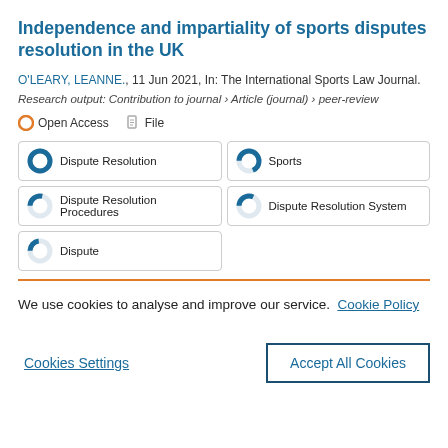Independence and impartiality of sports disputes resolution in the UK
O'LEARY, LEANNE., 11 Jun 2021, In: The International Sports Law Journal.
Research output: Contribution to journal › Article (journal) › peer-review
Open Access   File
Dispute Resolution
Sports
Dispute Resolution Procedures
Dispute Resolution System
Dispute
We use cookies to analyse and improve our service. Cookie Policy
Cookies Settings
Accept All Cookies